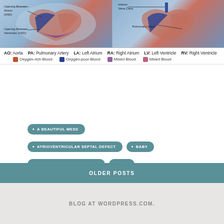[Figure (illustration): Two side-by-side anatomical diagrams of hearts showing congenital defects. Left diagram labels: Opening Between Atrium (ASD), Opening Between Ventricles (VSD). Right diagram labels: Inferior Vena Cava, Pulmonary Valve. Hearts shown with color-coded blood flow regions.]
AO: Aorta  PA: Pulmonary Artery  LA: Left Atrium  RA: Right Atrium  LV: Left Ventricle  RV: Right Ventricle  Oxygen-rich Blood  Oxygen-poor Blood  Mixed Blood  Mixed Blood
A BEAUTIFUL MESS
ATRIOVENTRICULAR SEPTAL DEFECT
BABY
CONGENITAL HEART DEFECT
GOD
HEART DEFECT
HEART WARRIOR
OLDER POSTS
BLOG AT WORDPRESS.COM.